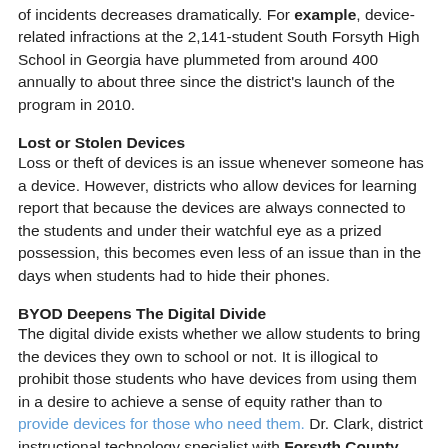of incidents decreases dramatically. For example, device-related infractions at the 2,141-student South Forsyth High School in Georgia have plummeted from around 400 annually to about three since the district's launch of the program in 2010.
Lost or Stolen Devices
Loss or theft of devices is an issue whenever someone has a device. However, districts who allow devices for learning report that because the devices are always connected to the students and under their watchful eye as a prized possession, this becomes even less of an issue than in the days when students had to hide their phones.
BYOD Deepens The Digital Divide
The digital divide exists whether we allow students to bring the devices they own to school or not. It is illogical to prohibit those students who have devices from using them in a desire to achieve a sense of equity rather than to provide devices for those who need them. Dr. Clark, district instructional technology specialist with Forsyth County Schools (GA), explains that in his experience with BYOD, "Students who